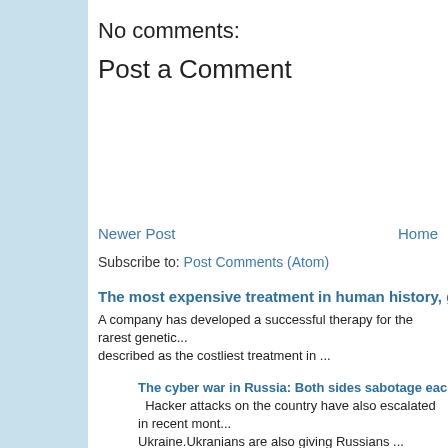No comments:
Post a Comment
Newer Post
Home
Subscribe to: Post Comments (Atom)
The most expensive treatment in human history, gene t...
A company has developed a successful therapy for the rarest genetic... described as the costliest treatment in ...
The cyber war in Russia: Both sides sabotage each other with digit...
Hacker attacks on the country have also escalated in recent mont... Ukraine.Ukranians are also giving Russians ...
How can we protect our children from obesity?